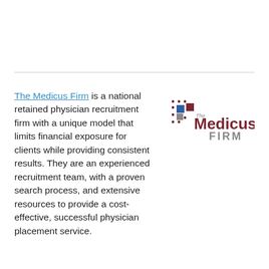The Medicus Firm is a national retained physician recruitment firm with a unique model that limits financial exposure for clients while providing consistent results. They are an experienced recruitment team, with a proven search process, and extensive resources to provide a cost-effective, successful physician placement service.
[Figure (logo): The Medicus Firm logo with colored squares (blue, dark red, gray) and text 'The Medicus FIRM']